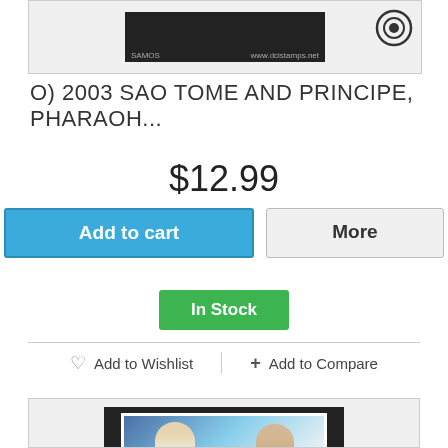[Figure (photo): Stamp product image showing a dark/black background with a logo watermark (eye icon) and small url text]
O) 2003 SAO TOME AND PRINCIPE, PHARAOH...
$12.99
Add to cart
More
In Stock
♡ Add to Wishlist
+ Add to Compare
[Figure (photo): Stamp product image showing two men (appears to be a postage stamp) on dark background]